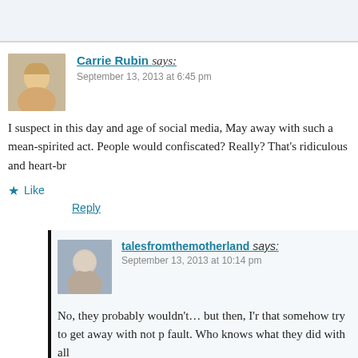Carrie Rubin says: September 13, 2013 at 6:45 pm
I suspect in this day and age of social media, May away with such a mean-spirited act. People would confiscated? Really? That’s ridiculous and heart-br
★ Like
Reply
talesfromthemotherland says: September 13, 2013 at 10:14 pm
No, they probably wouldn’t… but then, I’r that somehow try to get away with not p fault. Who knows what they did with all